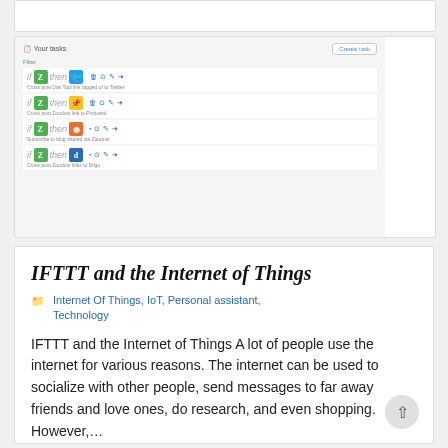[Figure (screenshot): Screenshot of IFTTT (If This Then That) task list interface showing four automation recipes: Zap to Twitter, Zap to Pinboard, Subscribe to blog shared via Zoodust, and Zap Zoodust links to Diigo. Each row has 'if [Z] then [service icon]' format with action icons.]
IFTTT and the Internet of Things
Internet Of Things, IoT, Personal assistant, Technology
IFTTT and the Internet of Things A lot of people use the internet for various reasons. The internet can be used to socialize with other people, send messages to far away friends and love ones, do research, and even shopping. However,…